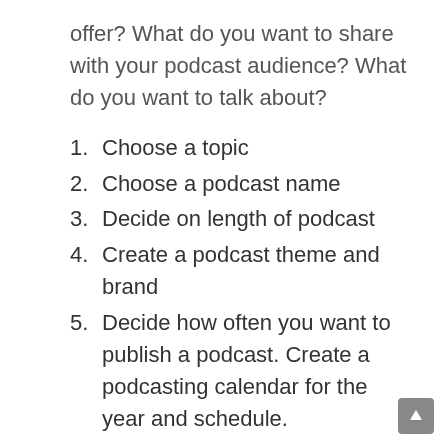offer? What do you want to share with your podcast audience? What do you want to talk about?
1. Choose a topic
2. Choose a podcast name
3. Decide on length of podcast
4. Create a podcast theme and brand
5. Decide how often you want to publish a podcast. Create a podcasting calendar for the year and schedule.
The more you publish good regular content with searchable keywords the quicker you will be found by Google. Set up a content calendar so